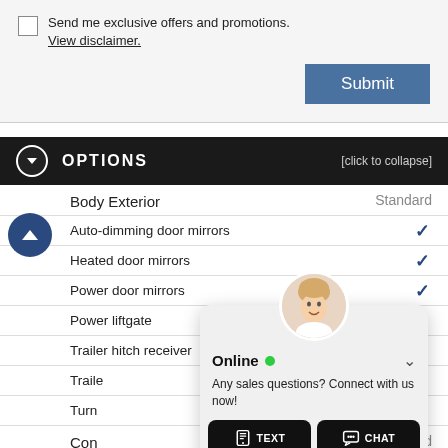Send me exclusive offers and promotions. View disclaimer.
Submit
OPTIONS [click to collapse]
| Feature | Standard |
| --- | --- |
| Body Exterior | Standard |
| Auto-dimming door mirrors | ✓ |
| Heated door mirrors | ✓ |
| Power door mirrors | ✓ |
| Power liftgate | ✓ |
| Trailer hitch receiver | ✓ |
| Trailer ... | ✓ |
| Turn ... | ✓ |
| Convenience | Standard |
| 1-touch ... | ✓ |
| 1-touc... | ✓ |
[Figure (screenshot): Online chat popup with agent avatar, 'Online' status with green dot, message 'Any sales questions? Connect with us now!', TEXT and CHAT buttons]